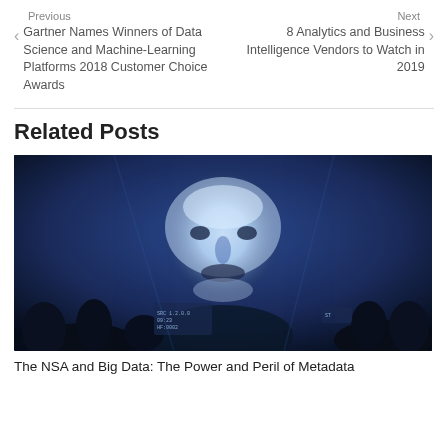Previous
Gartner Names Winners of Data Science and Machine-Learning Platforms 2018 Customer Choice Awards
Next
8 Analytics and Business Intelligence Vendors to Watch in 2019
Related Posts
[Figure (photo): A large projected blue-lit face image displayed on a screen with silhouettes of audience members visible in the foreground. The image appears to be surveillance or facial recognition themed.]
The NSA and Big Data: The Power and Peril of Metadata